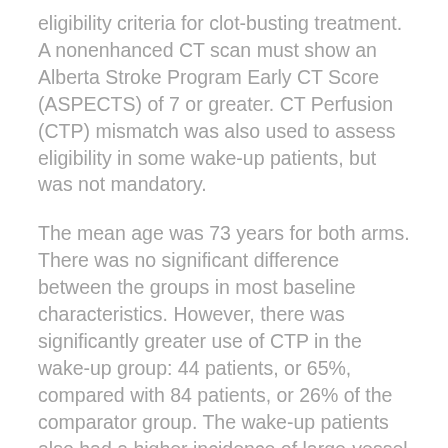eligibility criteria for clot-busting treatment. A nonenhanced CT scan must show an Alberta Stroke Program Early CT Score (ASPECTS) of 7 or greater. CT Perfusion (CTP) mismatch was also used to assess eligibility in some wake-up patients, but was not mandatory.
The mean age was 73 years for both arms. There was no significant difference between the groups in most baseline characteristics. However, there was significantly greater use of CTP in the wake-up group: 44 patients, or 65%, compared with 84 patients, or 26% of the comparator group. The wake-up patients also had a higher incidence of large-vessel stroke.
The outcomes were statistically similar for both groups, except for mean NIHSS scores at 24 hours. The mean score was